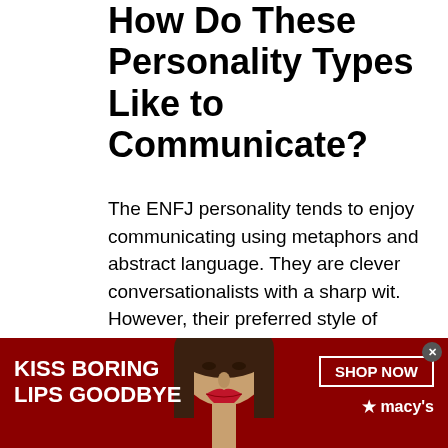How Do These Personality Types Like to Communicate?
The ENFJ personality tends to enjoy communicating using metaphors and abstract language. They are clever conversationalists with a sharp wit. However, their preferred style of communicating may not resonate with those around them.
[Figure (photo): Advertisement banner for Macy's cosmetics. Red background with a woman's face wearing red lipstick in the center. Left side reads 'KISS BORING LIPS GOODBYE' in white bold text. Right side has a 'SHOP NOW' button and Macy's star logo.]